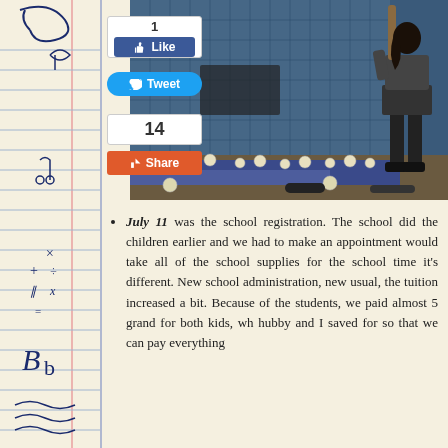[Figure (photo): A girl in a school uniform (blazer, skirt, knee-high socks) standing in an indoor batting cage with baseballs on the floor and blue netting in the background.]
[Figure (infographic): Social media buttons: Facebook Like (count 1), Twitter Tweet, and Google+ Share (count 14)]
July 11 was the school registration. The school did the children earlier and we had to make an appointment would take all of the school supplies for the school time it's different. New school administration, new usual, the tuition increased a bit. Because of the students, we paid almost 5 grand for both kids, wh hubby and I saved for so that we can pay everything